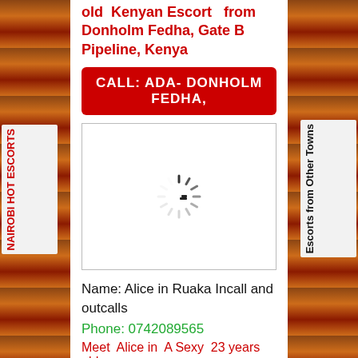old  Kenyan Escort   from Donholm Fedha, Gate B Pipeline, Kenya
CALL:  ADA- DONHOLM FEDHA,
[Figure (photo): Loading spinner / placeholder image with spinning wheel icon on white background]
Name: Alice in Ruaka Incall and outcalls
Phone: 0742089565
Meet  Alice in  A Sexy  23 years old
NAIROBI HOT ESCORTS
Major Roads
ries
Escorts from Other Towns